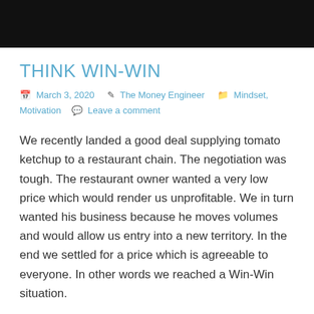[Figure (photo): Dark hero image at the top of the blog post]
THINK WIN-WIN
March 3, 2020   The Money Engineer   Mindset, Motivation   Leave a comment
We recently landed a good deal supplying tomato ketchup to a restaurant chain. The negotiation was tough. The restaurant owner wanted a very low price which would render us unprofitable. We in turn wanted his business because he moves volumes and would allow us entry into a new territory. In the end we settled for a price which is agreeable to everyone. In other words we reached a Win-Win situation.
Sometimes we struggle to relate amicably over minor